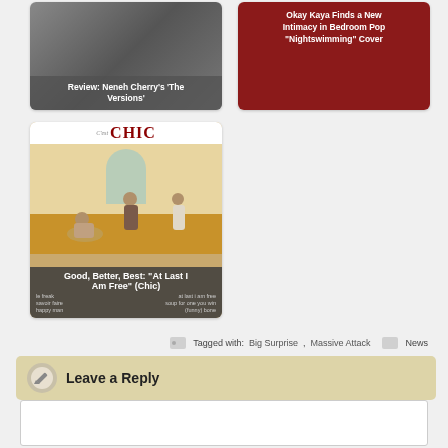[Figure (photo): Thumbnail card for review of Neneh Cherry's 'The Versions' with gray image and overlay text]
Review: Neneh Cherry's 'The Versions'
[Figure (photo): Thumbnail card for Okay Kaya 'Nightswimming' cover with red background]
Okay Kaya Finds a New Intimacy in Bedroom Pop "Nightswimming" Cover
[Figure (photo): Thumbnail card for Good, Better, Best: 'At Last I Am Free' (Chic) with album art showing CHIC text and indoor scene]
Good, Better, Best: "At Last I Am Free" (Chic)
Tagged with: Big Surprise, Massive Attack
News
Leave a Reply